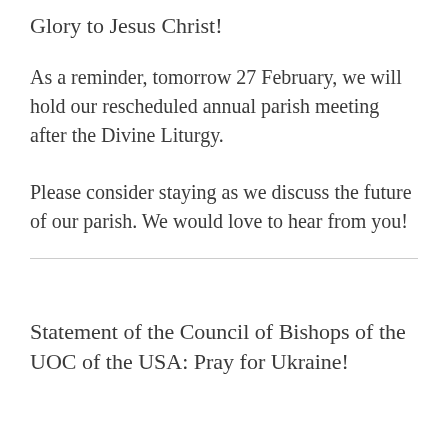Glory to Jesus Christ!
As a reminder, tomorrow 27 February, we will hold our rescheduled annual parish meeting after the Divine Liturgy.
Please consider staying as we discuss the future of our parish. We would love to hear from you!
Statement of the Council of Bishops of the UOC of the USA: Pray for Ukraine!